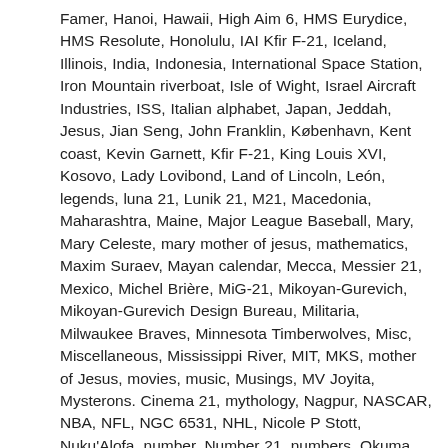Famer, Hanoi, Hawaii, High Aim 6, HMS Eurydice, HMS Resolute, Honolulu, IAI Kfir F-21, Iceland, Illinois, India, Indonesia, International Space Station, Iron Mountain riverboat, Isle of Wight, Israel Aircraft Industries, ISS, Italian alphabet, Japan, Jeddah, Jesus, Jian Seng, John Franklin, København, Kent coast, Kevin Garnett, Kfir F-21, King Louis XVI, Kosovo, Lady Lovibond, Land of Lincoln, León, legends, luna 21, Lunik 21, M21, Macedonia, Maharashtra, Maine, Major League Baseball, Mary, Mary Celeste, mary mother of jesus, mathematics, Maxim Suraev, Mayan calendar, Mecca, Messier 21, Mexico, Michel Brière, MiG-21, Mikoyan-Gurevich, Mikoyan-Gurevich Design Bureau, Militaria, Milwaukee Braves, Minnesota Timberwolves, Misc, Miscellaneous, Mississippi River, MIT, MKS, mother of Jesus, movies, music, Musings, MV Joyita, Mysterons. Cinema 21, mythology, Nagpur, NASCAR, NBA, NFL, NGC 6531, NHL, Nicole P Stott, Nuku'Alofa, number, Number 21, numbers, Okuma Shigenobu, Oregon, P210, Palatine Light, Palestine, Pendleton Act, Personal Writing, Peter Forsberg, phantom ship, Pier 21, Pittsburgh Penguins, Pittsburgh Pirates, Poland, politics, pontoon, Portland, Portugal, President, President James A Garfield, President Ulysses S Grant, Prince Edward, Pristina, Prohibition,